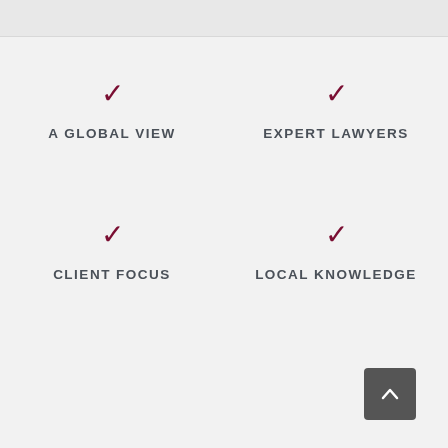A GLOBAL VIEW
EXPERT LAWYERS
CLIENT FOCUS
LOCAL KNOWLEDGE